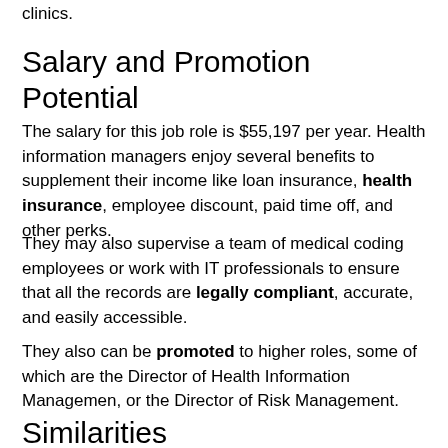clinics.
Salary and Promotion Potential
The salary for this job role is $55,197 per year. Health information managers enjoy several benefits to supplement their income like loan insurance, health insurance, employee discount, paid time off, and other perks.
They may also supervise a team of medical coding employees or work with IT professionals to ensure that all the records are legally compliant, accurate, and easily accessible.
They also can be promoted to higher roles, some of which are the Director of Health Information Managemen, or the Director of Risk Management.
Similarities